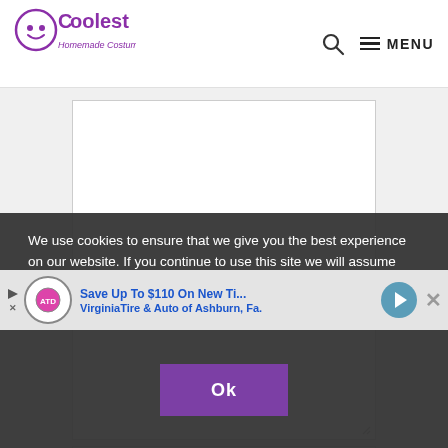[Figure (logo): Coolest Homemade Costumes logo — purple text with ghost/pumpkin icon]
🔍 ☰ MENU
[Figure (screenshot): Large empty white textarea input field for comment, with resize handle at bottom right]
[Figure (screenshot): Text input field with placeholder text 'Name *']
We use cookies to ensure that we give you the best experience on our website. If you continue to use this site we will assume that you are happy with it.
[Figure (infographic): Advertisement bar: Save Up To $110 On New Tires — VirginiaTire & Auto of Ashburn, Fa.]
Ok